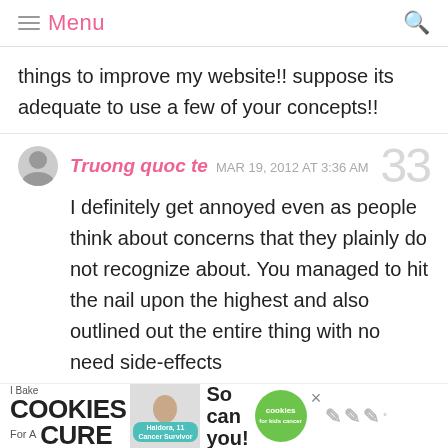Menu
things to improve my website!! suppose its adequate to use a few of your concepts!!
Truong quoc te  MAR 19, 2012 AT 3:36 AM  33
I definitely get annoyed even as people think about concerns that they plainly do not recognize about. You managed to hit the nail upon the highest and also outlined out the entire thing with no need side-effects
[Figure (screenshot): Advertisement banner: I Bake COOKIES For A CURE - So can you! with green badge]